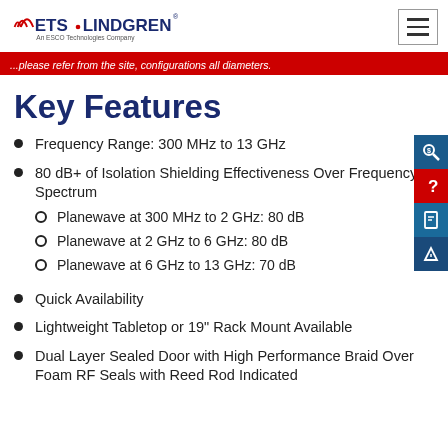ETS-LINDGREN An ESCO Technologies Company
...please refer from the site, configurations all diameters.
Key Features
Frequency Range: 300 MHz to 13 GHz
80 dB+ of Isolation Shielding Effectiveness Over Frequency Spectrum
Planewave at 300 MHz to 2 GHz: 80 dB
Planewave at 2 GHz to 6 GHz: 80 dB
Planewave at 6 GHz to 13 GHz: 70 dB
Quick Availability
Lightweight Tabletop or 19" Rack Mount Available
Dual Layer Sealed Door with High Performance Braid Over Foam RF Seals with Reed Rod Indicated